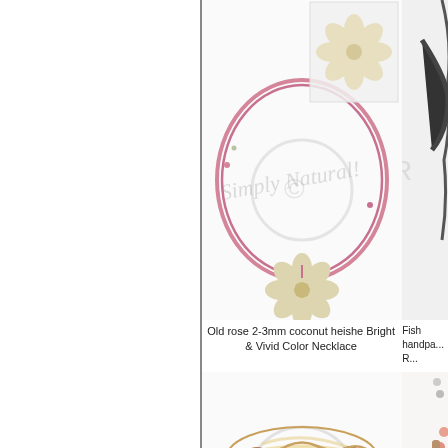[Figure (photo): Old rose 2-3mm coconut heishe necklace with flower pendants and 'Simply Natural!' watermark]
Old rose 2-3mm coconut heishe Bright & Vivid Color Necklace
[Figure (photo): Fish handpainted item partially visible on right side]
Fish handpa... R...
[Figure (photo): Ambabawod bangle wood wooden bangle with brown mottled pattern]
Ambabawod bangle wood Wooden Bangles
[Figure (photo): Coconut po... bracelet partially visible on right]
Coconut po...
[Figure (photo): Small circular item partially visible at bottom left of product area]